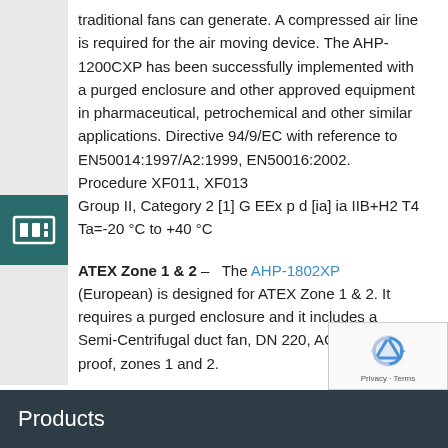traditional fans can generate. A compressed air line is required for the air moving device. The AHP-1200CXP has been successfully implemented with a purged enclosure and other approved equipment in pharmaceutical, petrochemical and other similar applications. Directive 94/9/EC with reference to EN50014:1997/A2:1999, EN50016:2002. Procedure XF011, XF013
Group II, Category 2 [1] G EEx p d [ia] ia IIB+H2 T4 Ta=-20 °C to +40 °C
ATEX Zone 1 & 2 – The AHP-1802XP (European) is designed for ATEX Zone 1 & 2. It requires a purged enclosure and it includes a Semi-Centrifugal duct fan, DN 220, AC, explosion proof, zones 1 and 2.
Products